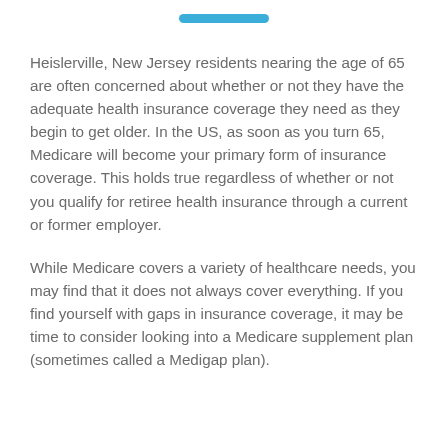[Figure (other): Teal/blue horizontal pill-shaped decorative bar at top of page]
Heislerville, New Jersey residents nearing the age of 65 are often concerned about whether or not they have the adequate health insurance coverage they need as they begin to get older. In the US, as soon as you turn 65, Medicare will become your primary form of insurance coverage. This holds true regardless of whether or not you qualify for retiree health insurance through a current or former employer.
While Medicare covers a variety of healthcare needs, you may find that it does not always cover everything. If you find yourself with gaps in insurance coverage, it may be time to consider looking into a Medicare supplement plan (sometimes called a Medigap plan).